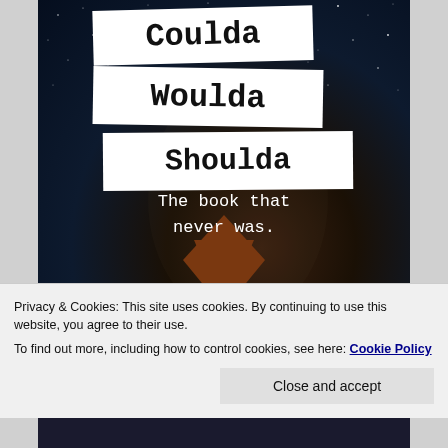[Figure (illustration): Book cover for 'Coulda Woulda Shoulda - The book that never was.' Dark starry night sky background with mountain silhouette; title text on white torn paper strips in typewriter font.]
Privacy & Cookies: This site uses cookies. By continuing to use this website, you agree to their use.
To find out more, including how to control cookies, see here: Cookie Policy
Close and accept